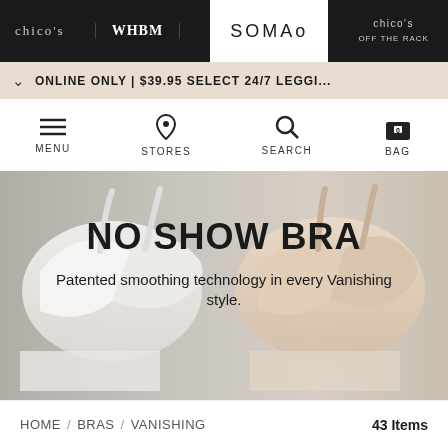chico's | WHBM | SOMA | chico's OFF THE RACK
ONLINE ONLY | $39.95 SELECT 24/7 LEGGI...
MENU | STORES | SEARCH | BAG
[Figure (photo): Two bras displayed on a flat surface — one white on the left, one nude/beige on the right. Both are smooth, seamless bras (Vanishing style). The image has overlaid text: 'NO SHOW BRA' in large bold sans-serif and 'Patented smoothing technology in every Vanishing style.' below it.]
NO SHOW BRA
Patented smoothing technology in every Vanishing style.
HOME / BRAS / VANISHING     43 Items